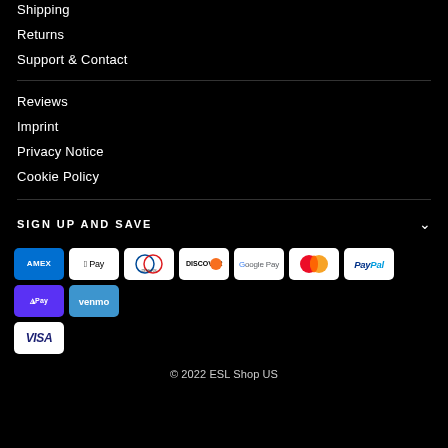Shipping
Returns
Support & Contact
Reviews
Imprint
Privacy Notice
Cookie Policy
SIGN UP AND SAVE
[Figure (logo): Payment method badges: American Express, Apple Pay, Diners Club, Discover, Google Pay, Mastercard, PayPal, Shop Pay, Venmo, Visa]
© 2022 ESL Shop US